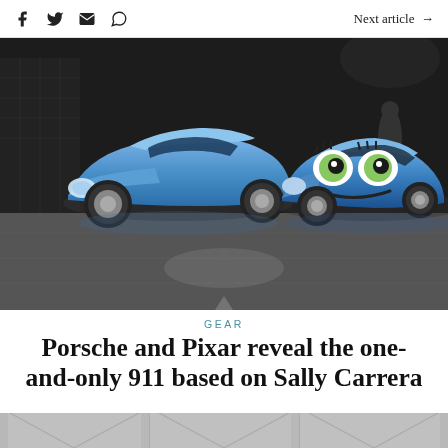f  Twitter  Mail  WhatsApp  |  Next article →
[Figure (photo): Two blue Porsche 911 cars parked in a showroom — one is a real car, the other is a Pixar-style animated car (Sally Carrera) with cartoon eyes and a smile on its face.]
Gear
Porsche and Pixar reveal the one-and-only 911 based on Sally Carrera
[Figure (photo): Bottom portion of a second photo, partially visible, showing what appears to be a grey industrial building or structure with roof trusses visible.]